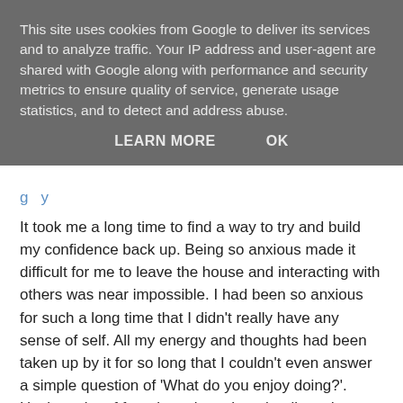This site uses cookies from Google to deliver its services and to analyze traffic. Your IP address and user-agent are shared with Google along with performance and security metrics to ensure quality of service, generate usage statistics, and to detect and address abuse.
LEARN MORE   OK
It took me a long time to find a way to try and build my confidence back up. Being so anxious made it difficult for me to leave the house and interacting with others was near impossible. I had been so anxious for such a long time that I didn't really have any sense of self. All my energy and thoughts had been taken up by it for so long that I couldn't even answer a simple question of 'What do you enjoy doing?'. Having a lot of free time alone though, allowed me the freedom to figure out things I did enjoy. So, as many with crippling social anxieties do, I turned to the internet! I had always spent a lot of time online and when I started stumbling across blogs I found myself reading more and more. I dont think I had read a blog in about 5 years and